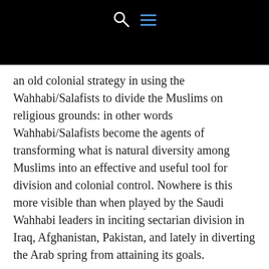an old colonial strategy in using the Wahhabi/Salafists to divide the Muslims on religious grounds: in other words Wahhabi/Salafists become the agents of transforming what is natural diversity among Muslims into an effective and useful tool for division and colonial control. Nowhere is this more visible than when played by the Saudi Wahhabi leaders in inciting sectarian division in Iraq, Afghanistan, Pakistan, and lately in diverting the Arab spring from attaining its goals.
3. Wahhabi/Salafis and the Palestinian issue